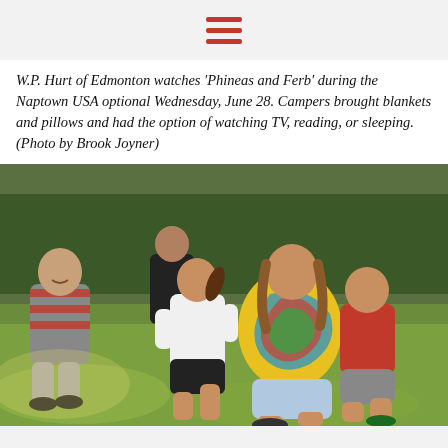W.P. Hurt of Edmonton watches 'Phineas and Ferb' during the Naptown USA optional Wednesday, June 28. Campers brought blankets and pillows and had the option of watching TV, reading, or sleeping. (Photo by Brook Joyner)
[Figure (photo): Outdoor photo of several young people playing a running game on a grassy field. A person in a colorful tie-dye shirt grapples with a person in a red shirt while a girl in a white top and black shorts runs nearby. A smiling boy in a red and gray striped shirt watches in the background. Trees and a vehicle are visible in the background.]